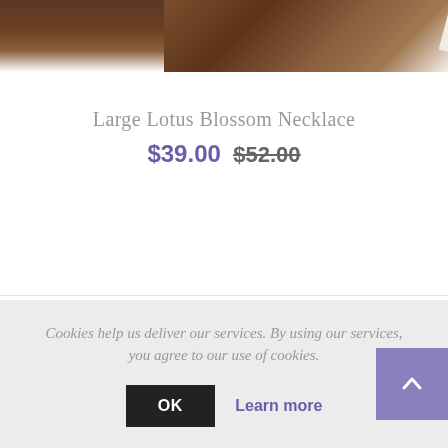[Figure (photo): Partial product photo of a necklace on a wooden surface, cropped at the top of the page]
Large Lotus Blossom Necklace
$39.00  $52.00
Cookies help us deliver our services. By using our services, you agree to our use of cookies.
OK  Learn more